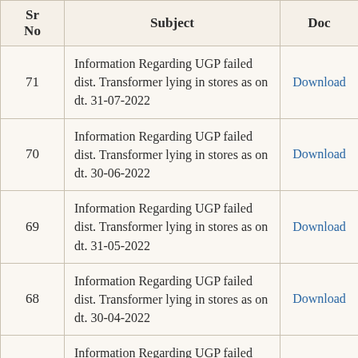| Sr No | Subject | Doc |
| --- | --- | --- |
| 71 | Information Regarding UGP failed dist. Transformer lying in stores as on dt. 31-07-2022 | Download |
| 70 | Information Regarding UGP failed dist. Transformer lying in stores as on dt. 30-06-2022 | Download |
| 69 | Information Regarding UGP failed dist. Transformer lying in stores as on dt. 31-05-2022 | Download |
| 68 | Information Regarding UGP failed dist. Transformer lying in stores as on dt. 30-04-2022 | Download |
| 67 | Information Regarding UGP failed dist. Transformer lying in stores as on dt. 31-03-2022 | Download |